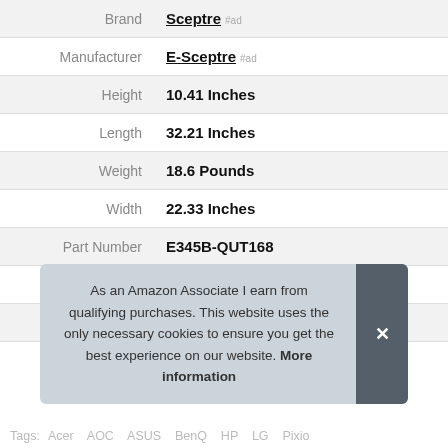| Attribute | Value |
| --- | --- |
| Brand | Sceptre #ad |
| Manufacturer | E-Sceptre #ad |
| Height | 10.41 Inches |
| Length | 32.21 Inches |
| Weight | 18.6 Pounds |
| Width | 22.33 Inches |
| Part Number | E345B-QUT168 |
| Model | E345B-QUT168 |
| Warranty | limited 1 year |
As an Amazon Associate I earn from qualifying purchases. This website uses the only necessary cookies to ensure you get the best experience on our website. More information
Tags: Acer AOC ASUS BenQ HP LG Pixio